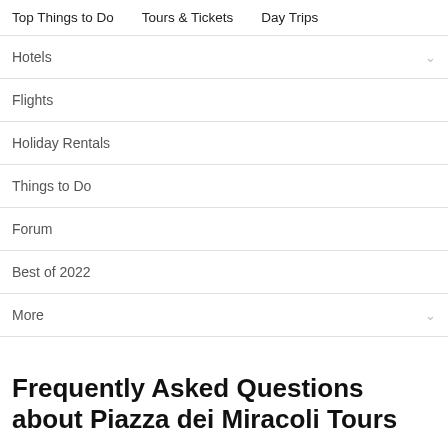Top Things to Do   Tours & Tickets   Day Trips
Hotels
Flights
Holiday Rentals
Things to Do
Forum
Best of 2022
More
Frequently Asked Questions about Piazza dei Miracoli Tours